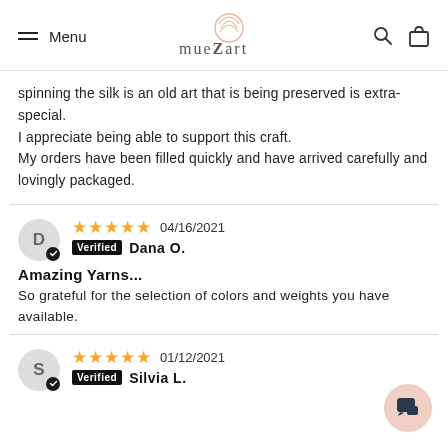Menu | muezart | search | cart
spinning the silk is an old art that is being preserved is extra-special.
I appreciate being able to support this craft.
My orders have been filled quickly and have arrived carefully and lovingly packaged.
★★★★★ 04/16/2021 Verified Dana O.
Amazing Yarns...
So grateful for the selection of colors and weights you have available.
★★★★★ 01/12/2021 Verified Silvia L.